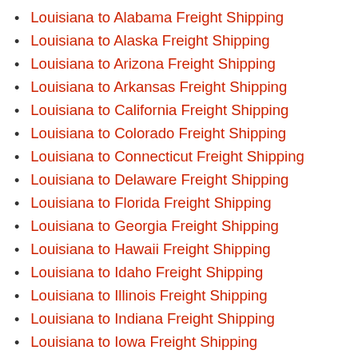Louisiana to Alabama Freight Shipping
Louisiana to Alaska Freight Shipping
Louisiana to Arizona Freight Shipping
Louisiana to Arkansas Freight Shipping
Louisiana to California Freight Shipping
Louisiana to Colorado Freight Shipping
Louisiana to Connecticut Freight Shipping
Louisiana to Delaware Freight Shipping
Louisiana to Florida Freight Shipping
Louisiana to Georgia Freight Shipping
Louisiana to Hawaii Freight Shipping
Louisiana to Idaho Freight Shipping
Louisiana to Illinois Freight Shipping
Louisiana to Indiana Freight Shipping
Louisiana to Iowa Freight Shipping